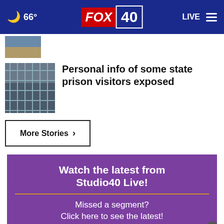66° FOX 40 LIVE
[Figure (photo): Small thumbnail image of outdoor landscape/field]
[Figure (photo): Chain-link prison fence thumbnail image]
Personal info of some state prison visitors exposed
More Stories ›
[Figure (infographic): Purple advertisement for Studio40 Live: Watch the latest from Studio40 Live! Missed a segment? Click here to see the latest!]
[Figure (infographic): Bottom banner ad: CLICK HERE TO GET 50% OFF, EAT LOCAL & SAVE, Be our Guest 40 logo]